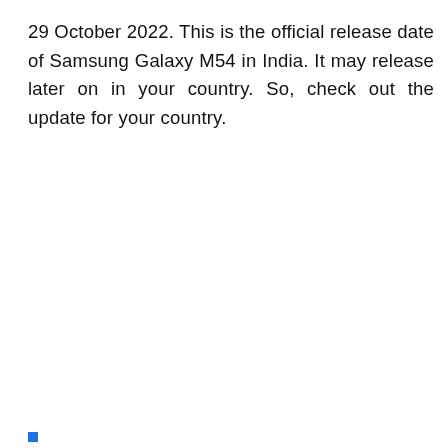29 October 2022. This is the official release date of Samsung Galaxy M54 in India. It may release later on in your country. So, check out the update for your country.